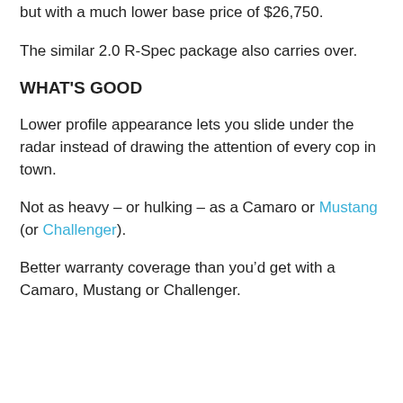but with a much lower base price of $26,750.
The similar 2.0 R-Spec package also carries over.
WHAT'S GOOD
Lower profile appearance lets you slide under the radar instead of drawing the attention of every cop in town.
Not as heavy – or hulking – as a Camaro or Mustang (or Challenger).
Better warranty coverage than you’d get with a Camaro, Mustang or Challenger.